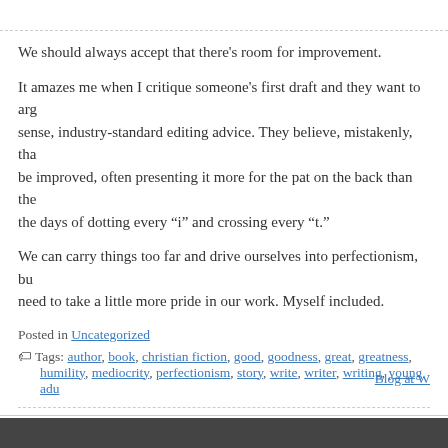We should always accept that there's room for improvement.
It amazes me when I critique someone's first draft and they want to argue against common sense, industry-standard editing advice. They believe, mistakenly, that their work cannot be improved, often presenting it more for the pat on the back than the help. Those were the days of dotting every “i” and crossing every “t.”
We can carry things too far and drive ourselves into perfectionism, but most of us need to take a little more pride in our work. Myself included.
Posted in Uncategorized
Tags: author, book, christian fiction, good, goodness, great, greatness, humility, mediocrity, perfectionism, story, write, writer, writing, young adu...
Blog at W...